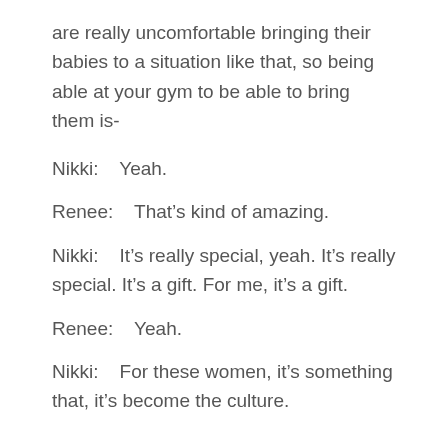are really uncomfortable bringing their babies to a situation like that, so being able at your gym to be able to bring them is-
Nikki:    Yeah.
Renee:    That's kind of amazing.
Nikki:    It's really special, yeah. It's really special. It's a gift. For me, it's a gift.
Renee:    Yeah.
Nikki:    For these women, it's something that, it's become the culture.